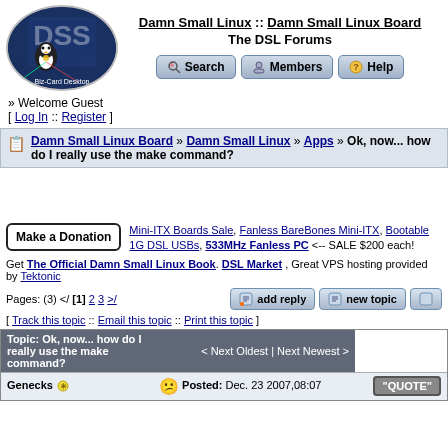[Figure (logo): Damn Small Linux Biz-Card Desktop logo with penguin mascot]
Damn Small Linux :: Damn Small Linux Board
The DSL Forums
[Figure (screenshot): Search, Members, Help navigation buttons]
» Welcome Guest
[ Log In :: Register ]
Damn Small Linux Board » Damn Small Linux » Apps » Ok, now... how do I really use the make command?
[Figure (screenshot): Make a Donation button]
Mini-ITX Boards Sale, Fanless BareBones Mini-ITX, Bootable 1G DSL USBs, 533MHz Fanless PC <-- SALE $200 each!
Get The Official Damn Small Linux Book. DSL Market , Great VPS hosting provided by Tektonic
Pages: (3) </ [1] 2 3 >/
[ Track this topic :: Email this topic :: Print this topic ]
| Topic: Ok, now... how do I really use the make command? | < Next Oldest | Next Newest > |
| --- | --- |
| Genecks | Posted: Dec. 23 2007,08:07 | "QUOTE" |